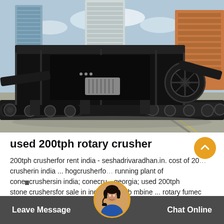[Figure (photo): Large black mobile jaw crusher / mobile crushing plant on tracks, parked on a concrete lot with urban buildings in the background. Sky is partly cloudy.]
used 200tph rotary crusher
200tph crusherfor rent india - seshadrivaradhan.in. cost of 200tph crusherin india ... hogcrusherfor running plant of conecrushersin india; conecrushersin georgia; used 200tph stone crushersfor sale in india - minin b mbine ... rotary fumec
Leave Message   Chat Online